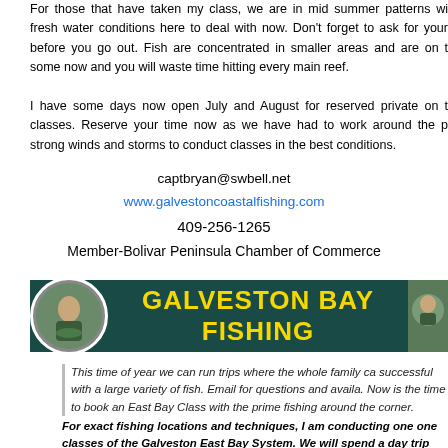For those that have taken my class, we are in mid summer patterns with fresh water conditions here to deal with now. Don't forget to ask for your before you go out. Fish are concentrated in smaller areas and are on th some now and you will waste time hitting every main reef.
I have some days now open July and August for reserved private on th classes. Reserve your time now as we have had to work around the p strong winds and storms to conduct classes in the best conditions.
captbryan@swbell.net
www.galvestoncoastalfishing.com
409-256-1265
Member-Bolivar Peninsula Chamber of Commerce
[Figure (illustration): Galveston Bay Fishing banner with dark teal background, yellow bold text reading GALVESTON BAY FISHING, with circular fishing photos on left and right]
This time of year we can run trips where the whole family ca successful with a large variety of fish. Email for questions and availa. Now is the time to book an East Bay Class with the prime fishing around the corner.
For exact fishing locations and techniques, I am conducting one one classes of the Galveston East Bay System. We will spend a day trip exploring that bay and the techniques and timing of fis there. Bring your hand-held GPS and a map and note pad and